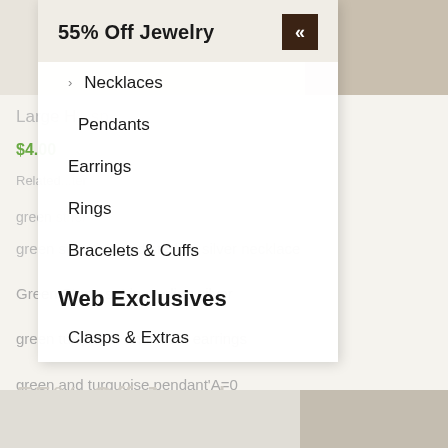[Figure (screenshot): Top banner with beige/stone-textured jewelry image areas]
55% Off Jewelry
Necklaces
Pendants
Earrings
Rings
Bracelets & Cuffs
Web Exclusives
Clasps & Extras
Large H...sp
$4.00
Related...
green s...beaded sterling silver necklace
Green Stone set in sterling silver
green turquoise and silver earrings
green and turquoise pendant'A=0
55% Off Jewelry
[Figure (photo): Bottom image strip showing jewelry/silver items]